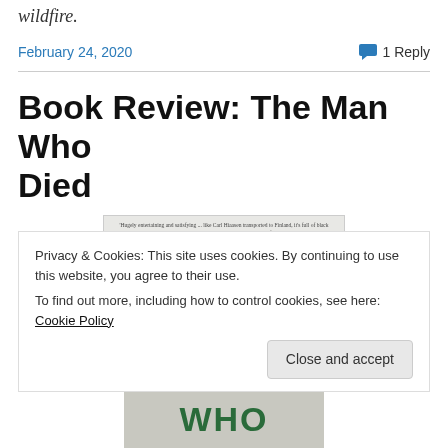wildfire.
February 24, 2020    1 Reply
Book Review: The Man Who Died
[Figure (photo): Book cover of 'The Man Who Died' by Antti Tuomainen with blurb text at top and green illustrated background]
Privacy & Cookies: This site uses cookies. By continuing to use this website, you agree to their use.
To find out more, including how to control cookies, see here: Cookie Policy
[Figure (photo): Partial view of book cover bottom showing green letters 'WHO' or similar text]